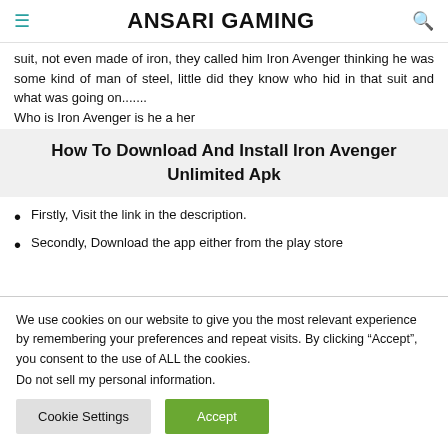ANSARI GAMING
suit, not even made of iron, they called him Iron Avenger thinking he was some kind of man of steel, little did they know who hid in that suit and what was going on.......
Who is Iron Avenger is he a her
How To Download And Install Iron Avenger Unlimited Apk
Firstly, Visit the link in the description.
Secondly, Download the app either from the play store
We use cookies on our website to give you the most relevant experience by remembering your preferences and repeat visits. By clicking “Accept”, you consent to the use of ALL the cookies.
Do not sell my personal information.